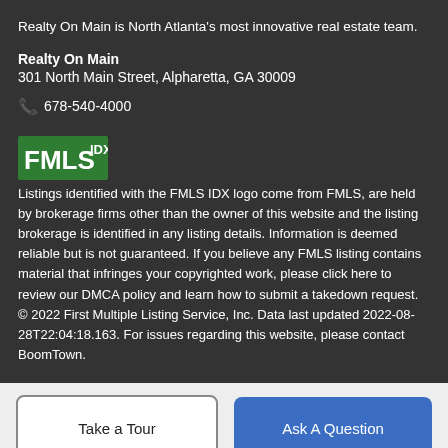Realty On Main is North Atlanta's most innovative real estate team.
Realty On Main
301 North Main Street, Alpharetta, GA 30009
📞 678-540-4000
[Figure (logo): FMLS IDX logo - green rectangle with white FMLS text and IDX superscript]
Listings identified with the FMLS IDX logo come from FMLS, are held by brokerage firms other than the owner of this website and the listing brokerage is identified in any listing details. Information is deemed reliable but is not guaranteed. If you believe any FMLS listing contains material that infringes your copyrighted work, please click here to review our DMCA policy and learn how to submit a takedown request. © 2022 First Multiple Listing Service, Inc. Data last updated 2022-08-28T22:04:18.163. For issues regarding this website, please contact BoomTown.
Take a Tour
Ask A Question